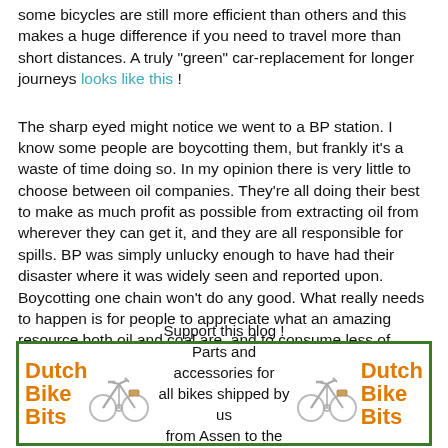some bicycles are still more efficient than others and this makes a huge difference if you need to travel more than short distances. A truly "green" car-replacement for longer journeys looks like this !
The sharp eyed might notice we went to a BP station. I know some people are boycotting them, but frankly it's a waste of time doing so. In my opinion there is very little to choose between oil companies. They're all doing their best to make as much profit as possible from extracting oil from wherever they can get it, and they are all responsible for spills. BP was simply unlucky enough to have had their disaster where it was widely seen and reported upon. Boycotting one chain won't do any good. What really needs to happen is for people to appreciate what an amazing resource both oil and coal are, and to consume less of them.
[Figure (infographic): Advertisement banner for Dutch Bike Bits with orange text logo on left and right sides, bicycle illustrations, and center text: Support this blog! Parts and accessories for all bikes shipped by us from Assen to the world]